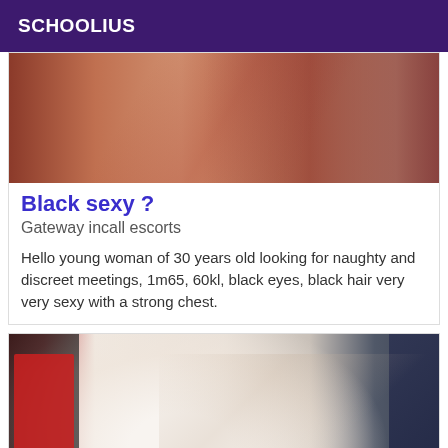SCHOOLIUS
[Figure (photo): Cropped photo of a person in dark maroon/burgundy clothing, showing lower body and hands]
Black sexy ?
Gateway incall escorts
Hello young woman of 30 years old looking for naughty and discreet meetings, 1m65, 60kl, black eyes, black hair very very sexy with a strong chest.
[Figure (photo): Photo of a person with blurred face near clothing rack with red and dark colored garments]